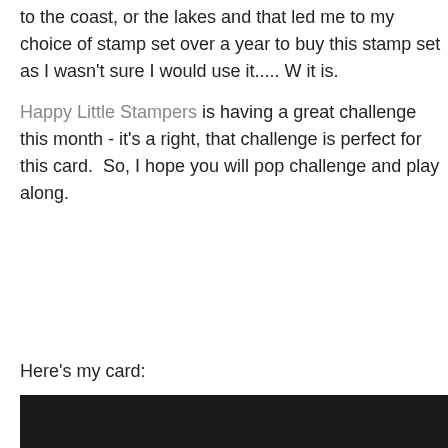to the coast, or the lakes and that led me to my choice of stamp set…over a year to buy this stamp set as I wasn't sure I would use it..... W it is.
Happy Little Stampers is having a great challenge this month - it's a right, that challenge is perfect for this card.  So, I hope you will pop challenge and play along.
Here's my card:
[Figure (photo): Dark image strip visible at bottom of page, appears to be top edge of a card photo]